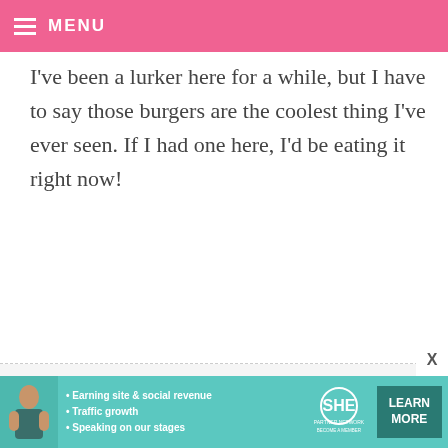MENU
I've been a lurker here for a while, but I have to say those burgers are the coolest thing I've ever seen. If I had one here, I'd be eating it right now!
THE ADVENTURE OF LINDS AND LYDS! — JUNE 14, 2009 @ 2:08 PM REPLY
Those are adorable. I did something similar for my daughter's 50's sock hop. Instead of cookie fries mine were Rice Krispie treats sliced and then
[Figure (infographic): SHE Partner Network advertisement banner with photo of woman, bullet points about earning site & social revenue, traffic growth, speaking on stages, SHE logo, and Learn More button]